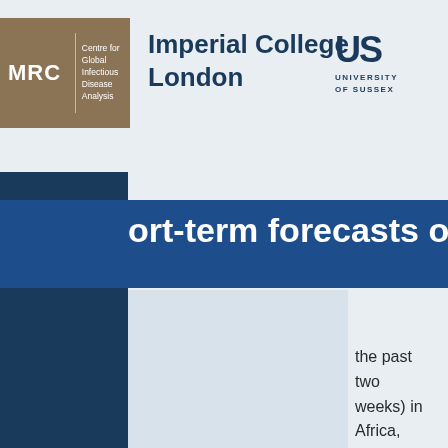[Figure (logo): MRC Centre for Global Infectious Disease Analysis logo]
[Figure (logo): Imperial College London logo text]
[Figure (logo): University of Sussex US logo]
ort-term forecasts of COVID-19 de
the past two weeks) in Africa, Asia, Europe, North & Central America, Oceania, and South America.